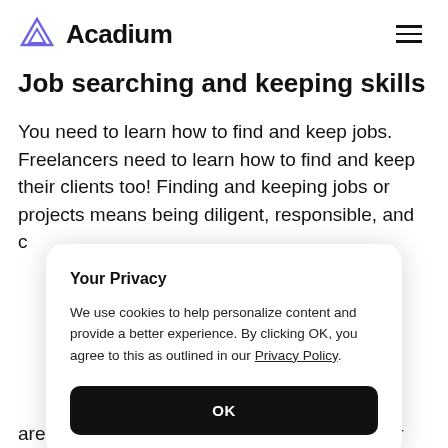Acadium
Job searching and keeping skills
You need to learn how to find and keep jobs. Freelancers need to learn how to find and keep their clients too! Finding and keeping jobs or projects means being diligent, responsible, and c
[Figure (screenshot): Cookie consent modal dialog with title 'Your Privacy', body text about cookie usage and a Privacy Policy link, and an OK button.]
are also key components of successful career